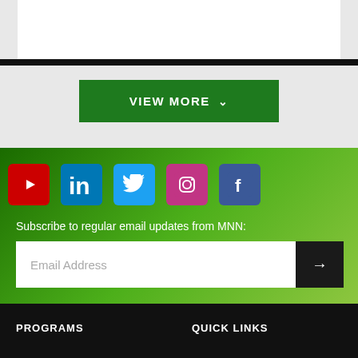[Figure (screenshot): White content box at top of page]
VIEW MORE
[Figure (infographic): Social media icons row: YouTube, LinkedIn, Twitter, Instagram, Facebook on green gradient background]
Subscribe to regular email updates from MNN:
Email Address
PROGRAMS
QUICK LINKS